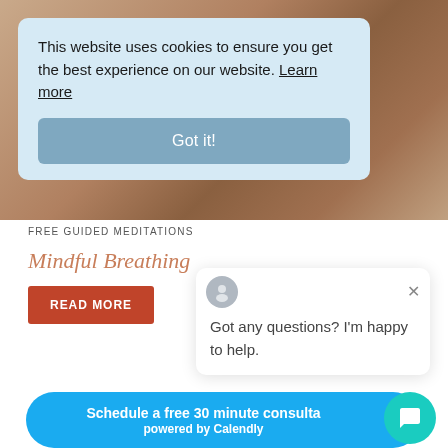[Figure (photo): Background photo of a person, warm brown tones]
This website uses cookies to ensure you get the best experience on our website. Learn more
Got it!
FREE GUIDED MEDITATIONS
Mindful Breathing
READ MORE
Got any questions? I'm happy to help.
Schedule a free 30 minute consulta powered by Calendly